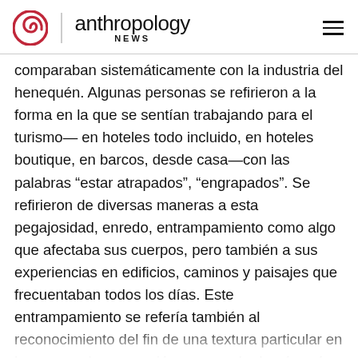anthropology NEWS
comparaban sistemáticamente con la industria del henequén. Algunas personas se refirieron a la forma en la que se sentían trabajando para el turismo— en hoteles todo incluido, en hoteles boutique, en barcos, desde casa—con las palabras “estar atrapados”, “engrapados”. Se refirieron de diversas maneras a esta pegajosidad, enredo, entrampamiento como algo que afectaba sus cuerpos, pero también a sus experiencias en edificios, caminos y paisajes que frecuentaban todos los días. Este entrampamiento se refería también al reconocimiento del fin de una textura particular en la arena, a la percepción encarnada de aún más calor urbano y a las